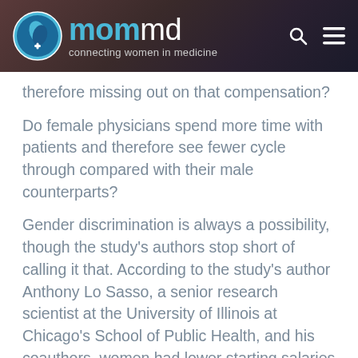mommd — connecting women in medicine
therefore missing out on that compensation?
Do female physicians spend more time with patients and therefore see fewer cycle through compared with their male counterparts?
Gender discrimination is always a possibility, though the study's authors stop short of calling it that. According to the study's author Anthony Lo Sasso, a senior research scientist at the University of Illinois at Chicago's School of Public Health, and his coauthors, women had lower starting salaries than men in nearly all specialties.
These findings are particularly significant when considering that women not only represent half of all